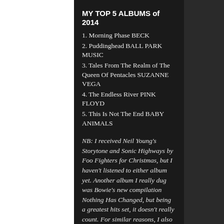MY TOP 5 ALBUMS of 2014
1. Morning Phase BECK
2. Puddinghead BALL PARK MUSIC
3. Tales From The Realm of The Queen Of Pentacles SUZANNE VEGA
4. The Endless River PINK FLOYD
5. This Is Not The End BABY ANIMALS
NB: I received Neil Young's Storytone and Sonic Highways by Foo Fighters for Christmas, but I haven't listened to either album yet. Another album I really dug was Bowie's new compilation Nothing Has Changed, but being a greatest hits set, it doesn't really count. For similar reasons, I also enjoyed Josh Pyke's Lone Wolf live box set.